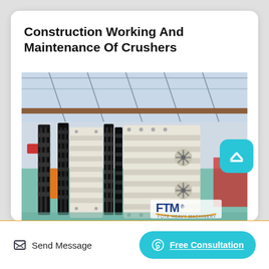Construction Working And Maintenance Of Crushers
[Figure (photo): Industrial crusher components stacked in a large manufacturing facility. Large black and white/cream colored crusher jaw plates and panels are arranged upright. FTM brand logo visible in lower right. Factory interior with steel structure roof visible.]
Send Message
Free Consultation